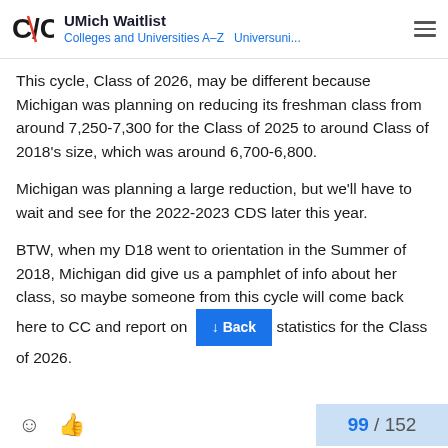UMich Waitlist — Colleges and Universities A-Z  Universuni...
This cycle, Class of 2026, may be different because Michigan was planning on reducing its freshman class from around 7,250-7,300 for the Class of 2025 to around Class of 2018's size, which was around 6,700-6,800.
Michigan was planning a large reduction, but we'll have to wait and see for the 2022-2023 CDS later this year.
BTW, when my D18 went to orientation in the Summer of 2018, Michigan did give us a pamphlet of info about her class, so maybe someone from this cycle will come back here to CC and report on statistics for the Class of 2026.